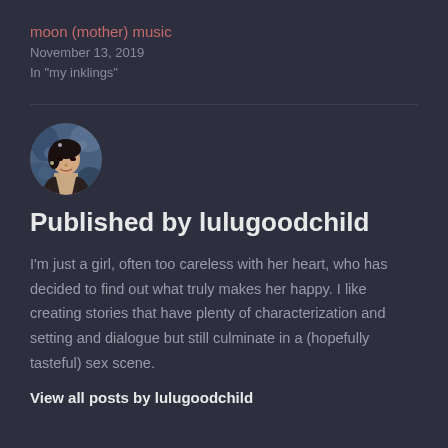moon (mother) music
November 13, 2019
In "my inklings"
[Figure (photo): Circular avatar photo of a woman with dark hair in a vintage style against a floral blue background]
Published by lulugoodchild
I'm just a girl, often too careless with her heart, who has decided to find out what truly makes her happy. I like creating stories that have plenty of characterization and setting and dialogue but still culminate in a (hopefully tasteful) sex scene.
View all posts by lulugoodchild